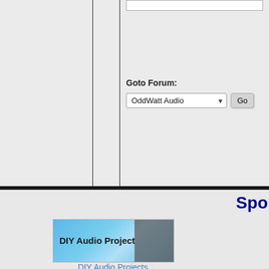Goto Forum:
OddWatt Audio
Spo
[Figure (illustration): DIY Audio Projects banner image with blue gradient background and dark right side showing audio equipment]
DIY Audio Projects